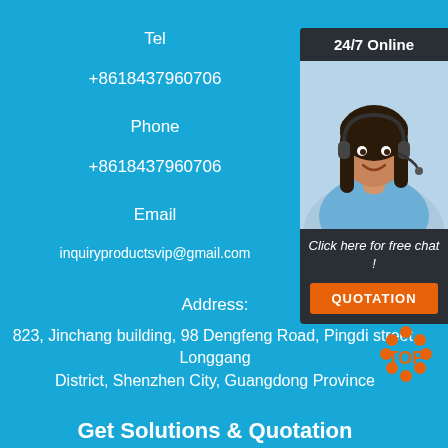Tel
+8618437960706
Phone
+8618437960706
Email
inquiryproductsvip@gmail.com
[Figure (photo): 24/7 Online support agent - woman with headset smiling, with 'Click here for free chat!' text and QUOTATION button]
Address:
823, Jinchang building, 98 Dengfeng Road, Pingdi street, Longgang District, Shenzhen City, Guangdong Province
[Figure (logo): TOP logo with orange dots arranged in circular pattern]
Get Solutions & Quotation